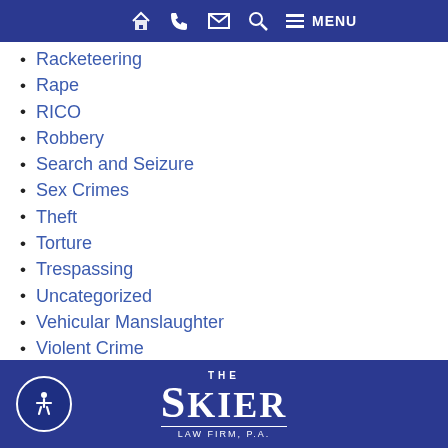[Figure (screenshot): Navigation bar with home, phone, email, search icons and MENU text on blue background]
Racketeering
Rape
RICO
Robbery
Search and Seizure
Sex Crimes
Theft
Torture
Trespassing
Uncategorized
Vehicular Manslaughter
Violent Crime
Weapons Charges
White Collar Crime
Wrongful Conviction
The Skier Law Firm, P.A.